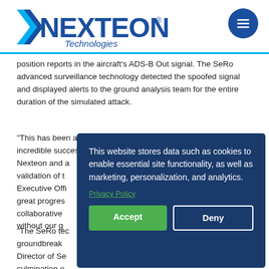[Figure (logo): Nexteon Technologies logo — dark blue bold text with arrow graphic and 'Technologies' in italic below]
position reports in the aircraft's ADS-B Out signal. The SeRo advanced surveillance technology detected the spoofed signal and displayed alerts to the ground analysis team for the entire duration of the simulated attack.
"This has been an incredible success for Nexteon and a validation of t[he SeRo technology," said] Executive Offi[cer...] great progres[s...] collaborative[...] without our g[overnment partners...]
"The SeRo tec[hnology represents a] groundbreak[ing advancement," said the] Director of Se[Ro...] culmination o[f...] we are grateful to have the opportunity to showcase
This website stores data such as cookies to enable essential site functionality, as well as marketing, personalization, and analytics.
Privacy Policy
Accept
Deny